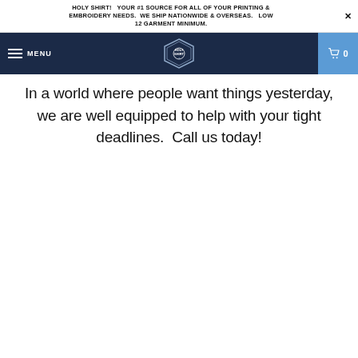HOLY SHIRT!  YOUR #1 SOURCE FOR ALL OF YOUR PRINTING & EMBROIDERY NEEDS.  WE SHIP NATIONWIDE & OVERSEAS.  LOW 12 GARMENT MINIMUM.
[Figure (logo): Holy Shirt logo with navigation bar including hamburger menu, MENU text, shield logo, and shopping cart with 0 count]
In a world where people want things yesterday, we are well equipped to help with your tight deadlines.  Call us today!